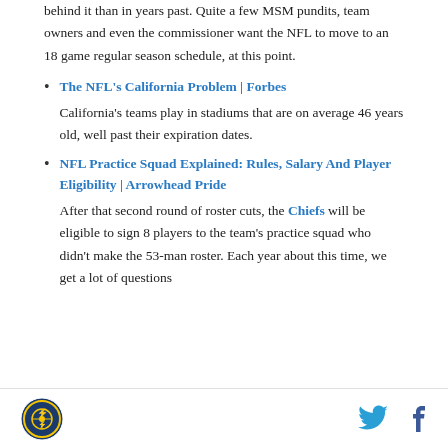behind it than in years past. Quite a few MSM pundits, team owners and even the commissioner want the NFL to move to an 18 game regular season schedule, at this point.
The NFL's California Problem | Forbes
California's teams play in stadiums that are on average 46 years old, well past their expiration dates.
NFL Practice Squad Explained: Rules, Salary And Player Eligibility | Arrowhead Pride
After that second round of roster cuts, the Chiefs will be eligible to sign 8 players to the team's practice squad who didn't make the 53-man roster. Each year about this time, we get a lot of questions
Logo | Twitter | Facebook